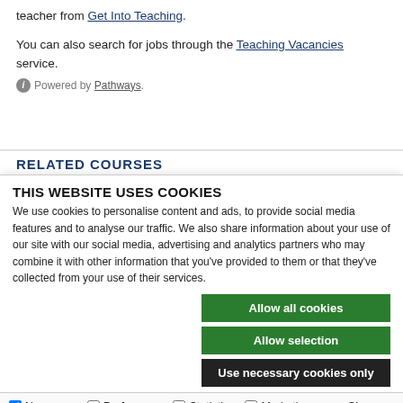teacher from Get Into Teaching.
You can also search for jobs through the Teaching Vacancies service.
ⓘ Powered by Pathways.
RELATED COURSES
THIS WEBSITE USES COOKIES
We use cookies to personalise content and ads, to provide social media features and to analyse our traffic. We also share information about your use of our site with our social media, advertising and analytics partners who may combine it with other information that you've provided to them or that they've collected from your use of their services.
Allow all cookies
Allow selection
Use necessary cookies only
✓ Necessary   □ Preferences   □ Statistics   □ Marketing   Show details ∨